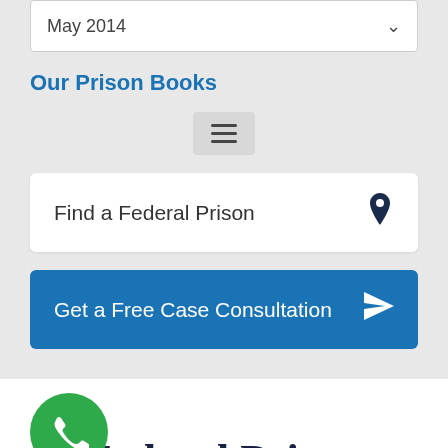May 2014
Our Prison Books
[Figure (other): Hamburger menu icon button]
Find a Federal Prison
Get a Free Case Consultation
Federal Prison